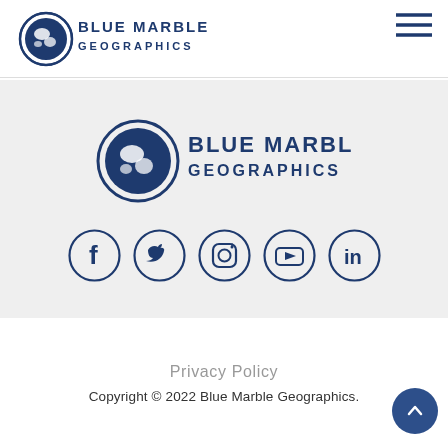[Figure (logo): Blue Marble Geographics logo in header with globe icon and text BLUE MARBLE GEOGRAPHICS in dark blue]
[Figure (logo): Blue Marble Geographics logo in footer band with globe icon and text BLUE MARBLE GEOGRAPHICS in dark blue]
[Figure (infographic): Row of 5 social media icon circles: Facebook, Twitter, Instagram, YouTube, LinkedIn — all dark navy blue outlines]
Privacy Policy
Copyright © 2022 Blue Marble Geographics.